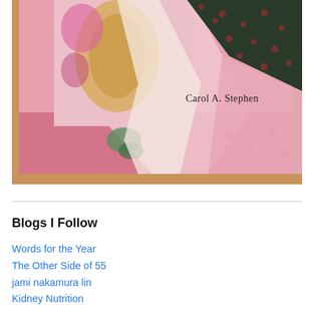[Figure (photo): Close-up photo of a pink fabric quilt or textile art piece with decorative patterns including floral scrollwork, polka-dot dark fabric, and pink textures. Text 'Carol A. Stephen' appears on the image.]
Blogs I Follow
Words for the Year
The Other Side of 55
jami nakamura lin
Kidney Nutrition